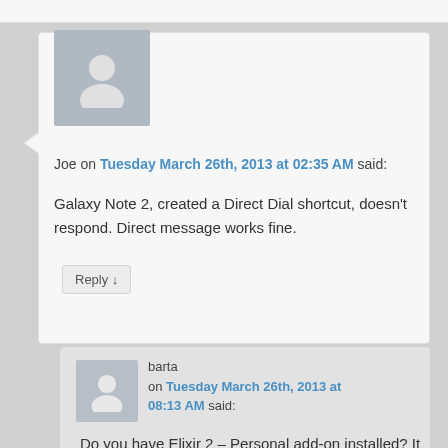Joe on Tuesday March 26th, 2013 at 02:35 AM said: Galaxy Note 2, created a Direct Dial shortcut, doesn't respond. Direct message works fine.
Reply ↓
barta on Tuesday March 26th, 2013 at 08:13 AM said: Do you have Elixir 2 – Personal add-on installed? It is needed to create direct dials.